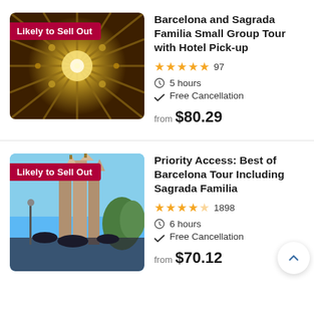[Figure (photo): Interior ceiling of Sagrada Familia cathedral with ornate geometric patterns, golden light, and radiating columns. Badge overlay reads 'Likely to Sell Out'.]
Barcelona and Sagrada Familia Small Group Tour with Hotel Pick-up
★★★★★ 97
5 hours
Free Cancellation
from $80.29
[Figure (photo): Exterior view of Sagrada Familia cathedral against blue sky with tourists looking up. Badge overlay reads 'Likely to Sell Out'.]
Priority Access: Best of Barcelona Tour Including Sagrada Familia
★★★★½ 1898
6 hours
Free Cancellation
from $70.12